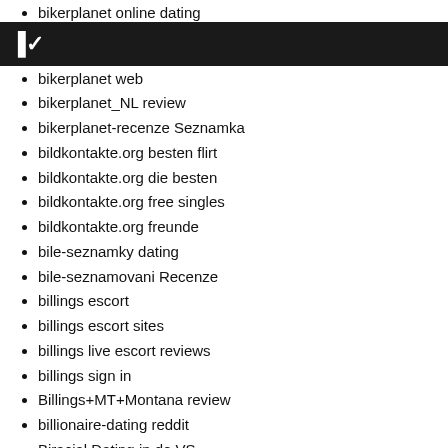bikerplanet online dating
C~
bikerplanet web
bikerplanet_NL review
bikerplanet-recenze Seznamka
bildkontakte.org besten flirt
bildkontakte.org die besten
bildkontakte.org free singles
bildkontakte.org freunde
bile-seznamky dating
bile-seznamovani Recenze
billings escort
billings escort sites
billings live escort reviews
billings sign in
Billings+MT+Montana review
billionaire-dating reddit
Biracial Dating in de VS
Biracial Dating online
Biracial Dating review
biracial dating sign in
Biracial Dating username
Biracial Dating visitors
biracial-dating-cs Seznamka